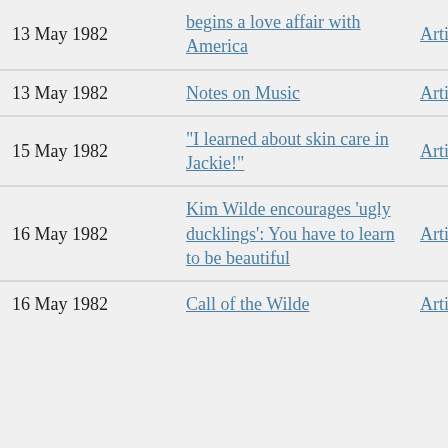| Date | Title | Type |
| --- | --- | --- |
| 13 May 1982 | begins a love affair with America | Article |
| 13 May 1982 | Notes on Music | Article |
| 15 May 1982 | "I learned about skin care in Jackie!" | Article |
| 16 May 1982 | Kim Wilde encourages 'ugly ducklings': You have to learn to be beautiful | Article |
| 16 May 1982 | Call of the Wilde | Article |